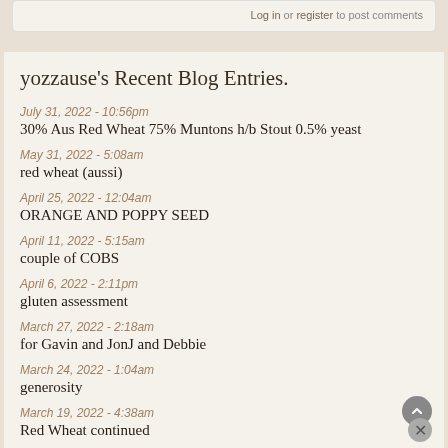Log in or register to post comments
yozzause's Recent Blog Entries.
July 31, 2022 - 10:56pm
30% Aus Red Wheat 75% Muntons h/b Stout 0.5% yeast
May 31, 2022 - 5:08am
red wheat (aussi)
April 25, 2022 - 12:04am
ORANGE AND POPPY SEED
April 11, 2022 - 5:15am
couple of COBS
April 6, 2022 - 2:11pm
gluten assessment
March 27, 2022 - 2:18am
for Gavin and JonJ and Debbie
March 24, 2022 - 1:04am
generosity
March 19, 2022 - 4:38am
Red Wheat continued
March 18, 2022 - 6:40am
Aus Red Wheat
March 8, 2022 - 6:33am